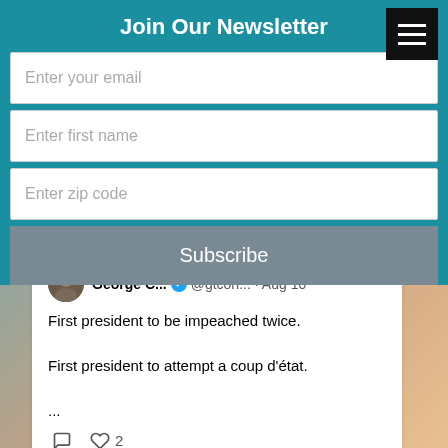Join Our Newsletter
Enter your email
Enter first name
Enter zip code
Subscribe
George C... @gtcon... · Aug 10
First president to be impeached twice.

First president to attempt a coup d'état.

...
2
TheRainbo... @therain... · Aug 10